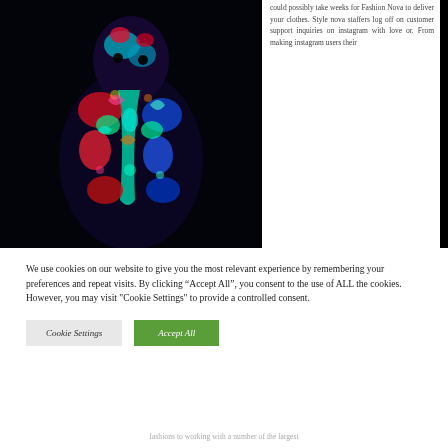[Figure (photo): A person with vivid neon body art/paint — psychedelic patterns in red, green, blue, teal glowing under UV/blacklight against a dark background, showing torso and head from behind/front.]
could possibly take weeks for Fashion Nova to deliver your clothes. Style nova staffers log off on customer support inquiries on instagram with love or. From making instagram users their
fashions to working with a number of the largest
We use cookies on our website to give you the most relevant experience by remembering your preferences and repeat visits. By clicking “Accept All”, you consent to the use of ALL the cookies. However, you may visit "Cookie Settings" to provide a controlled consent.